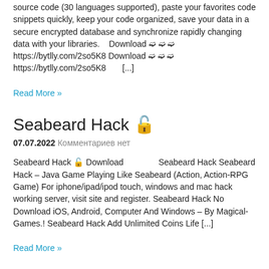source code (30 languages supported), paste your favorites code snippets quickly, keep your code organized, save your data in a secure encrypted database and synchronize rapidly changing data with your libraries.   Download ➫ ➫ ➫ https://bytlly.com/2so5K8 Download ➫ ➫ ➫ https://bytlly.com/2so5K8      [...]
Read More »
Seabeard Hack 🔓
07.07.2022  Комментариев нет
Seabeard Hack 🔓 Download              Seabeard Hack Seabeard Hack – Java Game Playing Like Seabeard (Action, Action-RPG Game) For iphone/ipad/ipod touch, windows and mac hack working server, visit site and register. Seabeard Hack No Download iOS, Android, Computer And Windows – By Magical-Games.! Seabeard Hack Add Unlimited Coins Life [...]
Read More »
CSLSAP2000 V15.2.1 Ultimate-16 🔓